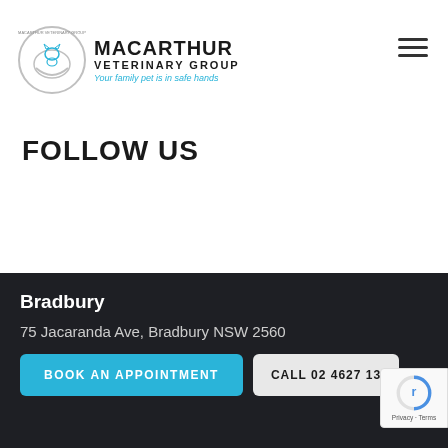[Figure (logo): Macarthur Veterinary Group logo with circular emblem showing cat, dog and hands, text reads MACARTHUR VETERINARY GROUP, tagline: Your family pet is in safe hands]
FOLLOW US
Bradbury
75 Jacaranda Ave, Bradbury NSW 2560
BOOK AN APPOINTMENT
CALL 02 4627 13